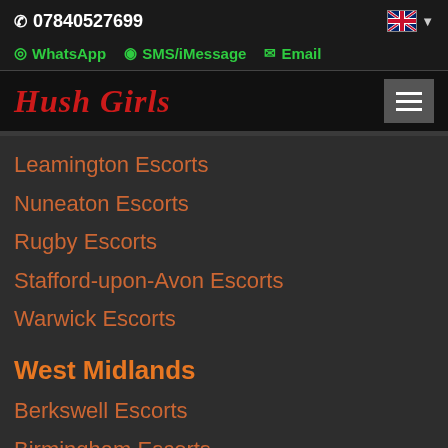07840527699
WhatsApp  SMS/iMessage  Email
Hush Girls
Leamington Escorts
Nuneaton Escorts
Rugby Escorts
Stafford-upon-Avon Escorts
Warwick Escorts
West Midlands
Berkswell Escorts
Birmingham Escorts
Coventry Escorts